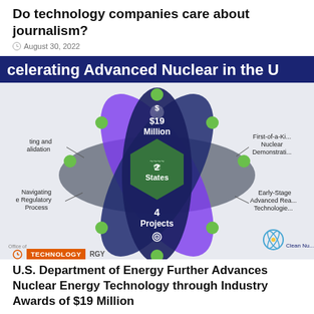Do technology companies care about journalism?
August 30, 2022
[Figure (infographic): Infographic titled 'Accelerating Advanced Nuclear in the U...' showing an atomic-model diagram with overlapping purple, dark navy, and gray ellipses. Center hexagon shows a US map labeled '2 States'. Top petal shows '$19 Million' with a money bag icon. Bottom petal shows '4 Projects' with a target icon. Green circles at the orbital intersections. Left side labels: 'ting and alidation', 'Navigating e Regulatory Process'. Right side labels: 'First-of-a-Ki... Nuclear Demonstrati...', 'Early-Stage Advanced Rea... Technologie...'. Bottom right: atom logo with 'Clean Nu...' Bottom left: Office of Energy logo.]
TECHNOLOGY RGY
U.S. Department of Energy Further Advances Nuclear Energy Technology through Industry Awards of $19 Million